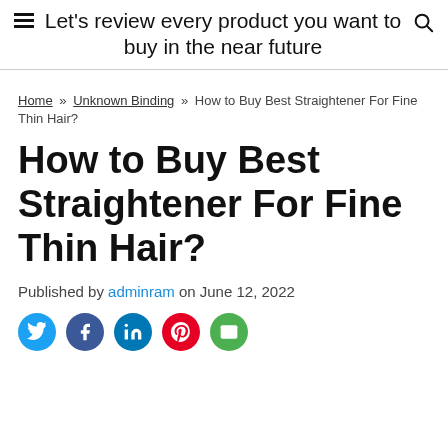Let's review every product you want to buy in the near future
Home » Unknown Binding » How to Buy Best Straightener For Fine Thin Hair?
How to Buy Best Straightener For Fine Thin Hair?
Published by adminram on June 12, 2022
[Figure (infographic): Social share icons: Twitter (blue), Facebook (blue), LinkedIn (blue), Pinterest (red), Email (green)]